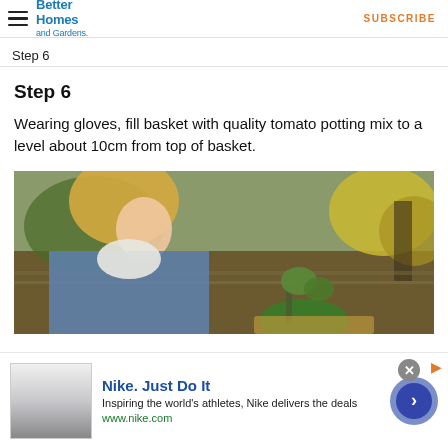Better Homes and Gardens | SUBSCRIBE
Step 6
Step 6
Wearing gloves, fill basket with quality tomato potting mix to a level about 10cm from top of basket.
[Figure (photo): Woman with long blonde hair in a denim jacket bending over green plants outdoors near water with yellow foliage in background.]
Nike. Just Do It
Inspiring the world's athletes, Nike delivers the deals
www.nike.com